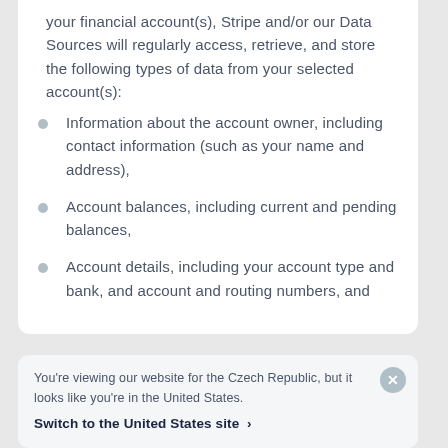your financial account(s), Stripe and/or our Data Sources will regularly access, retrieve, and store the following types of data from your selected account(s):
Information about the account owner, including contact information (such as your name and address),
Account balances, including current and pending balances,
Account details, including your account type and bank, and account and routing numbers, and
You're viewing our website for the Czech Republic, but it looks like you're in the United States.
Switch to the United States site ›